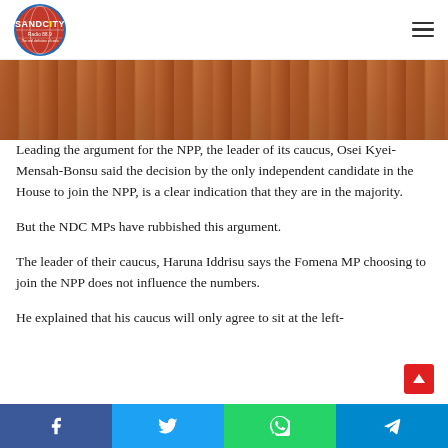Sandcity Radio 88.9 — The real definition of radio
[Figure (photo): Cropped photo of wooden chairs/benches, warm brown tones, parliament or assembly setting]
Leading the argument for the NPP, the leader of its caucus, Osei Kyei-Mensah-Bonsu said the decision by the only independent candidate in the House to join the NPP, is a clear indication that they are in the majority.
But the NDC MPs have rubbished this argument.
The leader of their caucus, Haruna Iddrisu says the Fomena MP choosing to join the NPP does not influence the numbers.
He explained that his caucus will only agree to sit at the left-
Share buttons: Facebook, Twitter, WhatsApp, Telegram